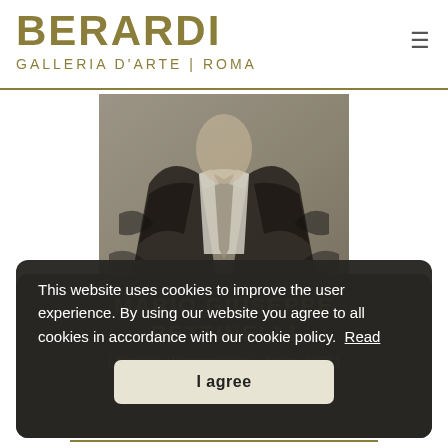BERARDI
Galleria d'Arte | Roma
[Figure (illustration): Charcoal or pencil drawing of a man in a dark suit and tie, upper torso view, rendered in dark tones with expressive gestural marks.]
MARIO GIUSEPPE BETTINELLI
( Treviglio (Bergamo) 1880 – Milano 1953 )
This website uses cookies to improve the user experience. By using our website you agree to all cookies in accordance with our cookie policy.  Read
I agree